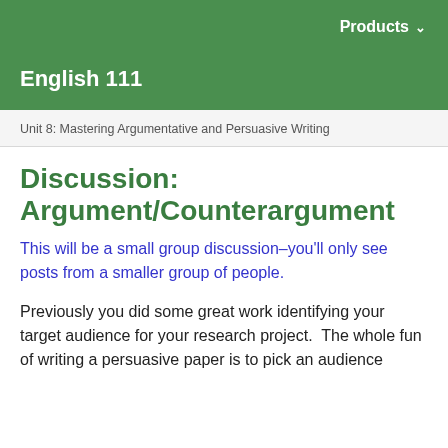Products
English 111
Unit 8: Mastering Argumentative and Persuasive Writing
Discussion: Argument/Counterargument
This will be a small group discussion–you'll only see posts from a smaller group of people.
Previously you did some great work identifying your target audience for your research project.  The whole fun of writing a persuasive paper is to pick an audience